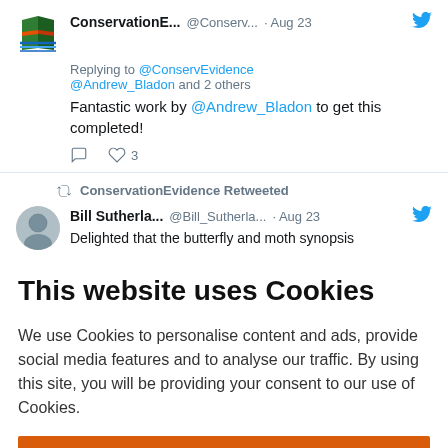[Figure (screenshot): Twitter/social media screenshot showing a tweet from ConservationE... (@Conserv...) dated Aug 23, replying to @ConservEvidence @Andrew_Bladon and 2 others, with text 'Fantastic work by @Andrew_Bladon to get this completed!' and 3 likes. Below is a retweet by ConservationEvidence of a tweet from Bill Sutherla... (@Bill_Sutherla...) dated Aug 23, with partial text 'Delighted that the butterfly and moth synopsis']
This website uses Cookies
We use Cookies to personalise content and ads, provide social media features and to analyse our traffic. By using this site, you will be providing your consent to our use of Cookies.